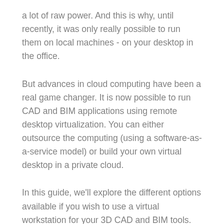a lot of raw power. And this is why, until recently, it was only really possible to run them on local machines - on your desktop in the office.
But advances in cloud computing have been a real game changer. It is now possible to run CAD and BIM applications using remote desktop virtualization. You can either outsource the computing (using a software-as-a-service model) or build your own virtual desktop in a private cloud.
In this guide, we'll explore the different options available if you wish to use a virtual workstation for your 3D CAD and BIM tools. We then summarize the costs of each option.